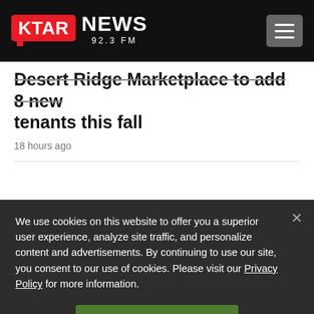[Figure (logo): KTAR News 92.3 FM logo with red KTAR badge and white NEWS text on black header background]
Desert Ridge Marketplace to add 8 new tenants this fall
18 hours ago
We use cookies on this website to offer you a superior user experience, analyze site traffic, and personalize content and advertisements. By continuing to use our site, you consent to our use of cookies. Please visit our Privacy Policy for more information.
Accept Cookies